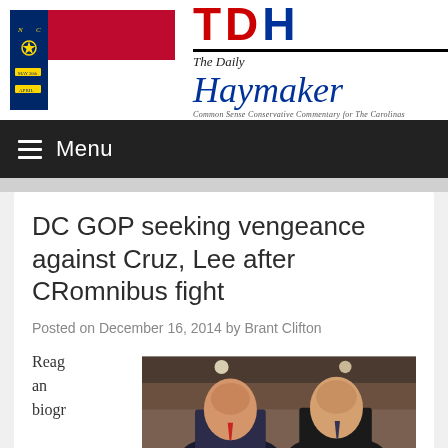[Figure (photo): North Carolina state flag photo on left, The Daily Haymaker logo on right with red TDH letters and blue cursive Haymaker text]
Menu
DC GOP seeking vengeance against Cruz, Lee after CRomnibus fight
Posted on December 16, 2014 by Brant Clifton
Reagan biogr
[Figure (photo): Two men in suits standing together, appears to be Ted Cruz and Mike Lee]